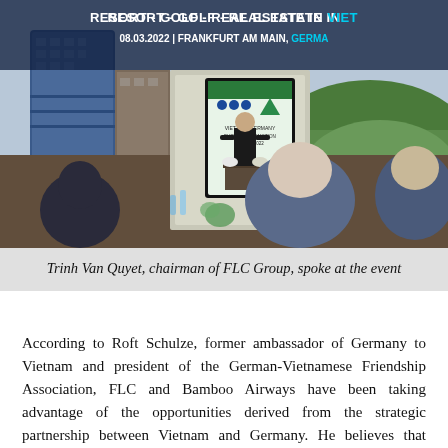[Figure (photo): Conference photo showing a speaker at a podium with a screen displaying logos and 'VIETNAM-GERMANY BUSINESS PROMOTION FORUM 2022', audience members visible from behind, background showing resort/cityscape imagery.]
Trinh Van Quyet, chairman of FLC Group, spoke at the event
According to Roft Schulze, former ambassador of Germany to Vietnam and president of the German-Vietnamese Friendship Association, FLC and Bamboo Airways have been taking advantage of the opportunities derived from the strategic partnership between Vietnam and Germany. He believes that Bamboo Airways's route to Frankfurt is a significant